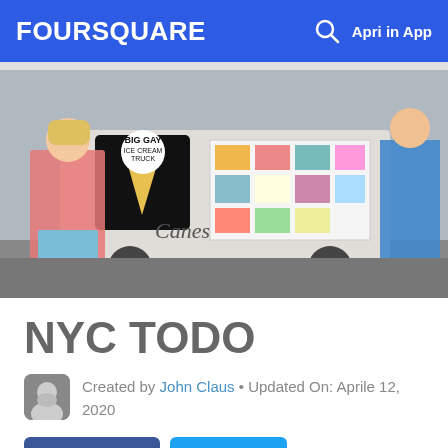FOURSQUARE  Apri in App
[Figure (photo): Street photo of people queuing at a Big Gay Ice Cream Truck on an urban street]
NYC TODO
Created by John Claus • Updated On: Aprile 12, 2020
Condividi   Tweet
[Figure (photo): Dark photo strip at the bottom of the page, appears to show a nighttime or dimly lit scene with lights]